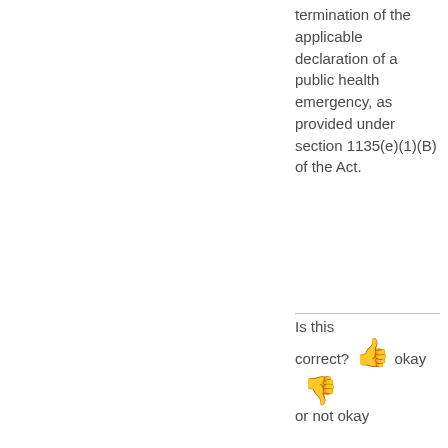termination of the applicable declaration of a public health emergency, as provided under section 1135(e)(1)(B) of the Act.
Is this correct? okay or not okay